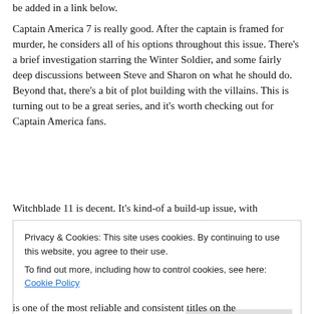be added in a link below.
Captain America 7 is really good. After the captain is framed for murder, he considers all of his options throughout this issue. There’s a brief investigation starring the Winter Soldier, and some fairly deep discussions between Steve and Sharon on what he should do. Beyond that, there’s a bit of plot building with the villains. This is turning out to be a great series, and it’s worth checking out for Captain America fans.
Witchblade 11 is decent. It’s kind-of a build-up issue, with
Privacy & Cookies: This site uses cookies. By continuing to use this website, you agree to their use.
To find out more, including how to control cookies, see here: Cookie Policy
Close and accept
is one of the most reliable and consistent titles on the